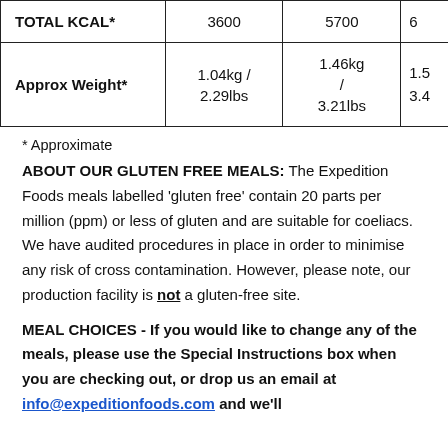|  | 3600 | 5700 | 6... |
| --- | --- | --- | --- |
| TOTAL KCAL* | 3600 | 5700 | 6 |
| Approx Weight* | 1.04kg / 2.29lbs | 1.46kg / 3.21lbs | 1.5... / 3.4... |
* Approximate
ABOUT OUR GLUTEN FREE MEALS: The Expedition Foods meals labelled 'gluten free' contain 20 parts per million (ppm) or less of gluten and are suitable for coeliacs. We have audited procedures in place in order to minimise any risk of cross contamination. However, please note, our production facility is not a gluten-free site.
MEAL CHOICES - If you would like to change any of the meals, please use the Special Instructions box when you are checking out, or drop us an email at info@expeditionfoods.com and we'll